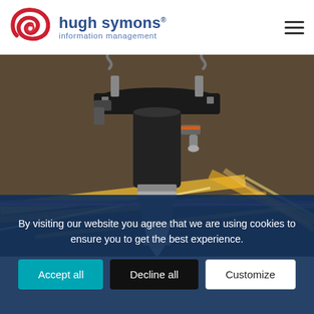[Figure (logo): Hugh Symons Information Management logo with red spiral/swirl icon and blue text]
[Figure (photo): Close-up photo of an industrial laser cutting head or CNC machine spindle with golden light streaks and purple laser beams on a dark reflective surface]
By visiting our website you agree that we are using cookies to ensure you to get the best experience.
Accept all | Decline all | Customize